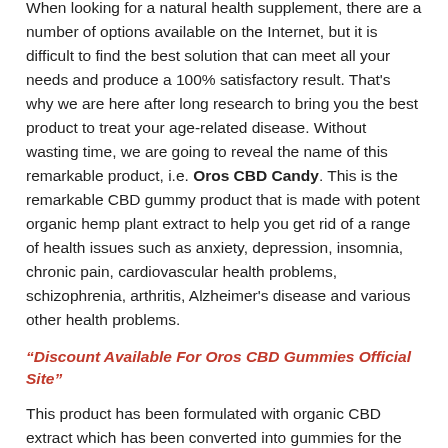When looking for a natural health supplement, there are a number of options available on the Internet, but it is difficult to find the best solution that can meet all your needs and produce a 100% satisfactory result. That's why we are here after long research to bring you the best product to treat your age-related disease. Without wasting time, we are going to reveal the name of this remarkable product, i.e. Oros CBD Candy. This is the remarkable CBD gummy product that is made with potent organic hemp plant extract to help you get rid of a range of health issues such as anxiety, depression, insomnia, chronic pain, cardiovascular health problems, schizophrenia, arthritis, Alzheimer's disease and various other health problems.
“Discount Available For Oros CBD Gummies Official Site”
This product has been formulated with organic CBD extract which has been converted into gummies for the best and most potent result. Converting CBD into gummies makes consuming this product easier than pills and oils. These gummies consist of an